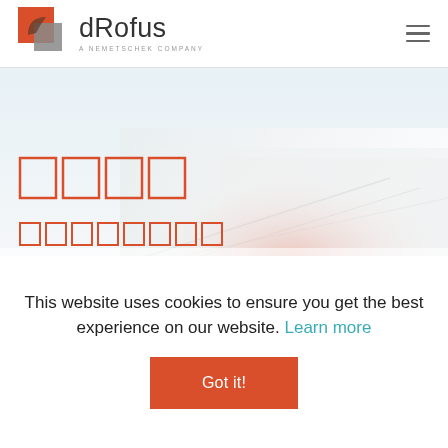[Figure (logo): dRofus logo with orange/red square icon with leaf, and text 'dRofus — A Nemetschek Company']
[Figure (photo): Hero background image of a modern white architectural building, faded/washed out with light. Contains placeholder red-bordered boxes representing text elements.]
This website uses cookies to ensure you get the best experience on our website. Learn more
Got it!